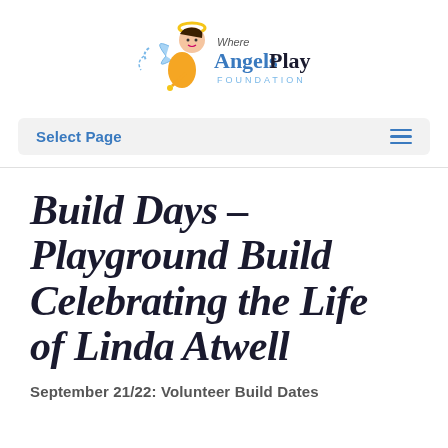[Figure (logo): Where Angels Play Foundation logo with cartoon angel child and stylized text]
Select Page
Build Days – Playground Build Celebrating the Life of Linda Atwell
September 21/22: Volunteer Build Dates